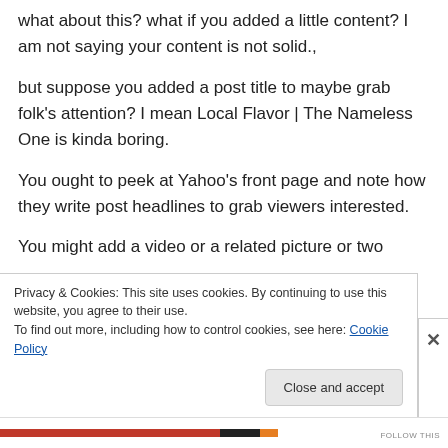what about this? what if you added a little content? I am not saying your content is not solid., but suppose you added a post title to maybe grab folk's attention? I mean Local Flavor | The Nameless One is kinda boring.
You ought to peek at Yahoo's front page and note how they write post headlines to grab viewers interested.
You might add a video or a related picture or two
Privacy & Cookies: This site uses cookies. By continuing to use this website, you agree to their use.
To find out more, including how to control cookies, see here: Cookie Policy